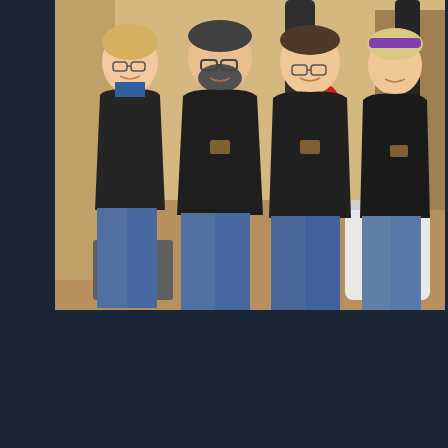[Figure (photo): Group photo of four staff members (three men and one woman) wearing black fleece jackets with logos, standing in front of telescopes and optical equipment in what appears to be a retail store or showroom. The person on the far right is wearing a purple headband.]
☎ 206-327-9826
Email: matt@cloudbreakoptics.com
🕐 Normal Hours:
Monday - Friday 10am - 4:30pm